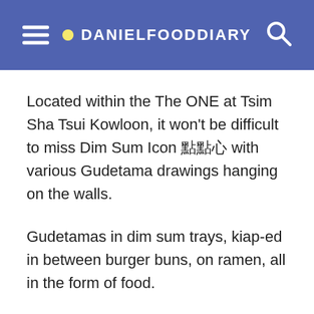DANIELFOODDIARY
Located within the The ONE at Tsim Sha Tsui Kowloon, it won't be difficult to miss Dim Sum Icon 點點心 with various Gudetama drawings hanging on the walls.
Gudetamas in dim sum trays, kiap-ed in between burger buns, on ramen, all in the form of food.